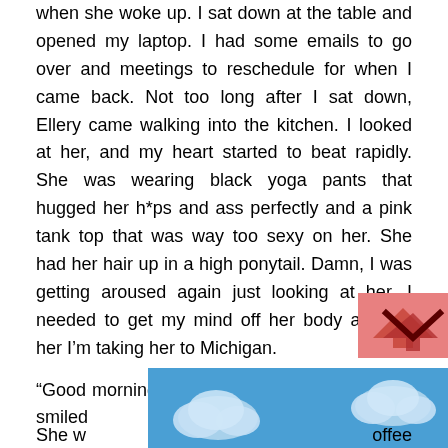when she woke up. I sat down at the table and opened my laptop. I had some emails to go over and meetings to reschedule for when I came back. Not too long after I sat down, Ellery came walking into the kitchen. I looked at her, and my heart started to beat rapidly. She was wearing black yoga pants that hugged her h*ps and ass perfectly and a pink tank top that was way too sexy on her. She had her hair up in a high ponytail. Damn, I was getting aroused again just looking at her. I needed to get my mind off her body and tell her I'm taking her to Michigan.
“Good morning, Ellery, I hope you slept well,” I smiled
[Figure (illustration): Blue sky with white clouds illustration/graphic, partially overlapping the text at the bottom of the page]
[Figure (illustration): Pink/salmon colored box with a dark arrow or chevron icon, positioned at bottom right over text]
She w... ...offee